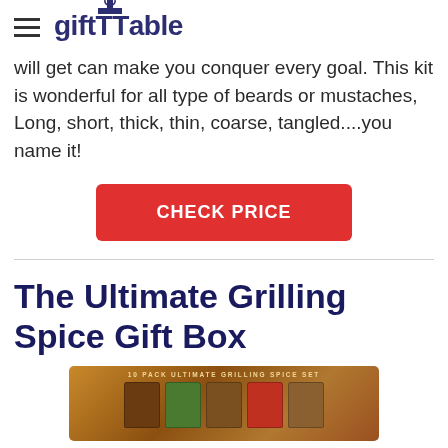giftTable
will get can make you conquer every goal. This kit is wonderful for all type of beards or mustaches, Long, short, thick, thin, coarse, tangled....you name it!
CHECK PRICE
The Ultimate Grilling Spice Gift Box
[Figure (photo): Product photo of a 10 pack Ultimate Grilling Spice Set gift box with multiple spice bottles]